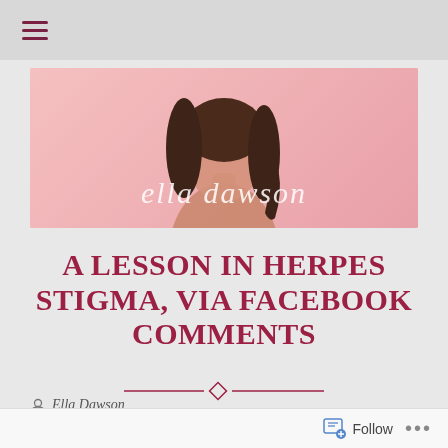≡ (hamburger menu)
[Figure (photo): Banner photo of Ella Dawson – a young woman with long brown hair against a pink background, with the cursive script text 'ella dawson' overlaid in white]
A LESSON IN HERPES STIGMA, VIA FACEBOOK COMMENTS
Ella Dawson
herpes, Tech
Follow  •••